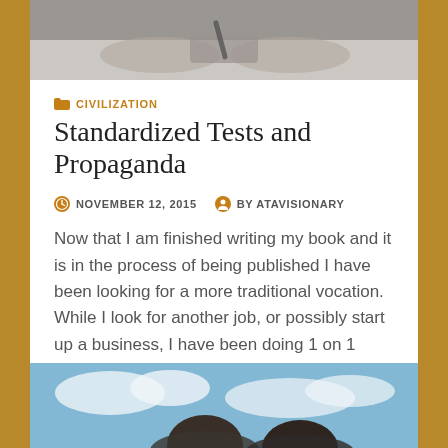[Figure (photo): Black and white photo of person writing, viewed from above, hands visible on desk]
CIVILIZATION
Standardized Tests and Propaganda
NOVEMBER 12, 2015   BY ATAVISIONARY
Now that I am finished writing my book and it is in the process of being published I have been looking for a more traditional vocation. While I look for another job, or possibly start up a business, I have been doing 1 on 1 tutoring sessions for high school...
[Figure (photo): Photo of two people viewed from behind looking at sky with clouds]